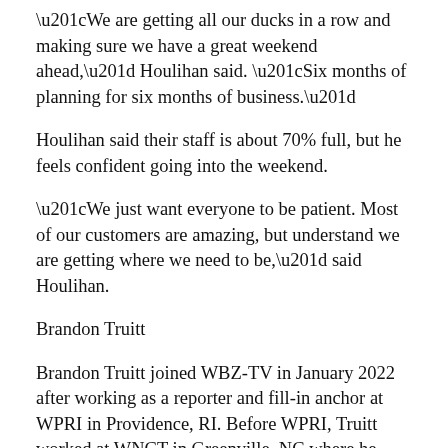“We are getting all our ducks in a row and making sure we have a great weekend ahead,” Houlihan said. “Six months of planning for six months of business.”
Houlihan said their staff is about 70% full, but he feels confident going into the weekend.
“We just want everyone to be patient. Most of our customers are amazing, but understand we are getting where we need to be,” said Houlihan.
Brandon Truitt
Brandon Truitt joined WBZ-TV in January 2022 after working as a reporter and fill-in anchor at WPRI in Providence, RI. Before WPRI, Truitt worked at WNCT in Greenville, NC where he